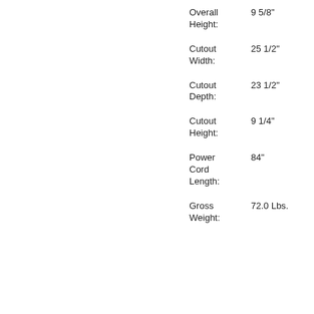| Specification | Value |
| --- | --- |
| Overall Height: | 9 5/8" |
| Cutout Width: | 25 1/2" |
| Cutout Depth: | 23 1/2" |
| Cutout Height: | 9 1/4" |
| Power Cord Length: | 84" |
| Gross Weight: | 72.0 Lbs. |